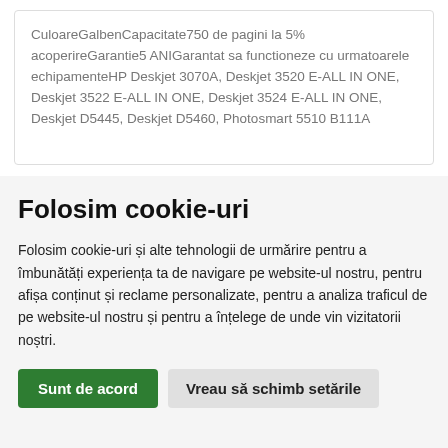CuloareGalbenCapacitate750 de pagini la 5% acoperireGarantie5 ANIGarantat sa functioneze cu urmatoarele echipamenteHP Deskjet 3070A, Deskjet 3520 E-ALL IN ONE, Deskjet 3522 E-ALL IN ONE, Deskjet 3524 E-ALL IN ONE, Deskjet D5445, Deskjet D5460, Photosmart 5510 B111A
Folosim cookie-uri
Folosim cookie-uri și alte tehnologii de urmărire pentru a îmbunătăți experiența ta de navigare pe website-ul nostru, pentru afișa conținut și reclame personalizate, pentru a analiza traficul de pe website-ul nostru și pentru a înțelege de unde vin vizitatorii noștri.
Sunt de acord
Vreau să schimb setările